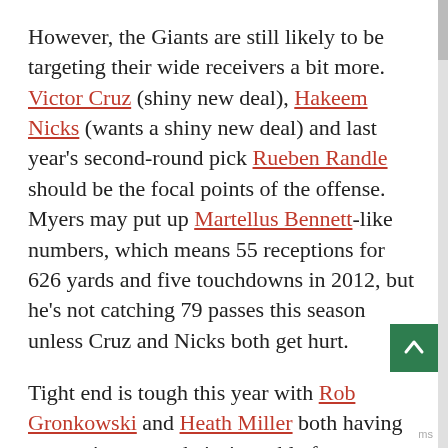However, the Giants are still likely to be targeting their wide receivers a bit more. Victor Cruz (shiny new deal), Hakeem Nicks (wants a shiny new deal) and last year's second-round pick Rueben Randle should be the focal points of the offense. Myers may put up Martellus Bennett-like numbers, which means 55 receptions for 626 yards and five touchdowns in 2012, but he's not catching 79 passes this season unless Cruz and Nicks both get hurt.
Tight end is tough this year with Rob Gronkowski and Heath Miller both having uncertainty over their timetable for return from injury. Dustin Keller just went down for Miami, joining Dennis Pitta on the list of injured starters. Vernon Davis has talked about playing some wide receiver. Antonio Gates is a San Diego receiver, which means he's a ticking time bomb for injury. Aaron Hernandez did something terrible. Because of a group of bad...